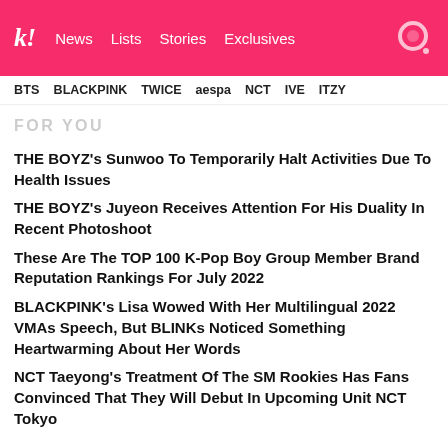koreaboo | News | Lists | Stories | Exclusives
BTS | BLACKPINK | TWICE | aespa | NCT | IVE | ITZY
FOR YOU
THE BOYZ's Sunwoo To Temporarily Halt Activities Due To Health Issues
THE BOYZ's Juyeon Receives Attention For His Duality In Recent Photoshoot
These Are The TOP 100 K-Pop Boy Group Member Brand Reputation Rankings For July 2022
BLACKPINK's Lisa Wowed With Her Multilingual 2022 VMAs Speech, But BLINKs Noticed Something Heartwarming About Her Words
NCT Taeyong's Treatment Of The SM Rookies Has Fans Convinced That They Will Debut In Upcoming Unit NCT Tokyo